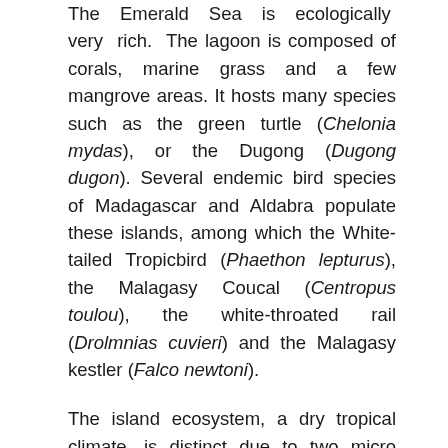The Emerald Sea is ecologically very rich. The lagoon is composed of corals, marine grass and a few mangrove areas. It hosts many species such as the green turtle (Chelonia mydas), or the Dugong (Dugong dugon). Several endemic bird species of Madagascar and Aldabra populate these islands, among which the White-tailed Tropicbird (Phaethon lepturus), the Malagasy Coucal (Centropus toulou), the white-throated rail (Drolmnias cuvieri) and the Malagasy kestler (Falco newtoni).
The island ecosystem, a dry tropical climate, is distinct due to two micro habitats. The first one, bordering the beach and the forest, is home to small shrubs and dry halophilic grass on a sandy soil. Rocks and floated wood can be found there